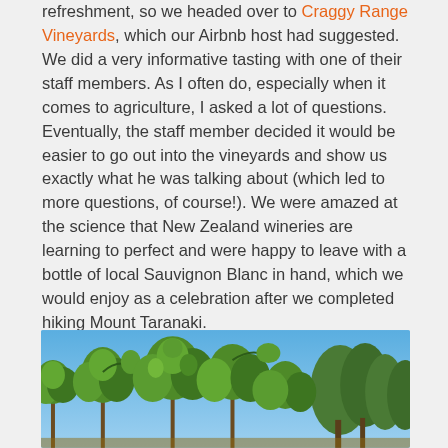refreshment, so we headed over to Craggy Range Vineyards, which our Airbnb host had suggested. We did a very informative tasting with one of their staff members. As I often do, especially when it comes to agriculture, I asked a lot of questions. Eventually, the staff member decided it would be easier to go out into the vineyards and show us exactly what he was talking about (which led to more questions, of course!). We were amazed at the science that New Zealand wineries are learning to perfect and were happy to leave with a bottle of local Sauvignon Blanc in hand, which we would enjoy as a celebration after we completed hiking Mount Taranaki.
[Figure (photo): Photo of vineyard plants with green leaves against a blue sky, with trees in the background]